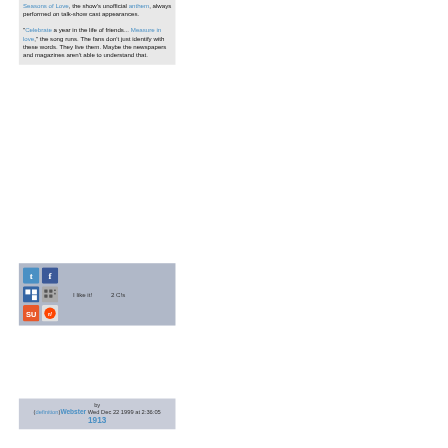Seasons of Love, the show's unofficial anthem, always performed on talk-show cast appearances.

"Celebrate a year in the life of friends... Measure in love," the song runs. The fans don't just identify with these words. They live them. Maybe the newspapers and magazines aren't able to understand that.
[Figure (infographic): Social sharing icons bar with Twitter, Facebook, Delicious, Digg, StumbleUpon, Reddit icons. Text: I like it! 2 C!s]
by (definition)Webster1913 Wed Dec 22 1999 at 2:36:05